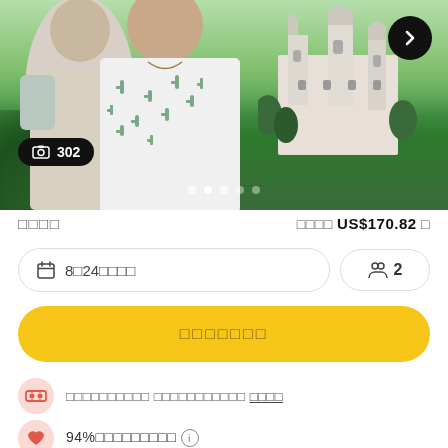[Figure (photo): Hero image showing two tourists with backpacks looking at a castle (Neuschwanstein) on a forested hillside, with a photo count badge showing 302 and navigation dots]
□□□□  □□□□ US$170.82 □
□ 8□24□□□□  □□ 2
□□□□□□□
□□□□□□□□□□ □□□□□□□□□□□ □□□□
94%□□□□□□□□□ ⓘ